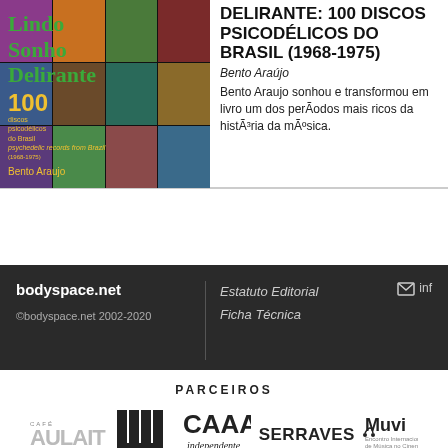[Figure (photo): Book cover of 'Lindo Sonho Delirante' showing a collage of psychedelic album covers with green title text and yellow subtitle listing '100 discos psicodélicos do Brasil' by Bento Araujo]
DELIRANTE: 100 DISCOS PSICODÉLICOS DO BRASIL (1968-1975)
Bento Araújo
Bento Araujo sonhou e transformou em livro um dos períodos mais ricos da história da música.
bodyspace.net
Estatuto Editorial
Ficha Técnica
inf
©bodyspace.net 2002-2020
PARCEIROS
[Figure (logo): CAFÉ AU LAIT logo in large bold distressed font]
[Figure (logo): Abstract vertical bars logo (CANAL 180 / RTP Arena)]
[Figure (logo): CAAA independente logo]
[Figure (logo): SERRAVES logo in bold black text]
[Figure (logo): Muvi logo with music note]
[Figure (logo): Canal 180 / RTP2 logo blocks]